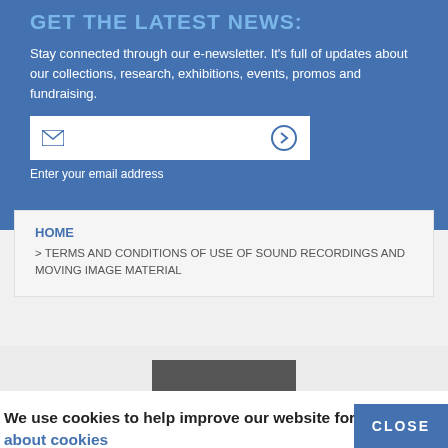GET THE LATEST NEWS:
Stay connected through our e-newsletter. It's full of updates about our collections, research, exhibitions, events, promos and fundraising.
Enter your email address
HOME
> TERMS AND CONDITIONS OF USE OF SOUND RECORDINGS AND MOVING IMAGE MATERIAL
We use cookies to help improve our website for you. Learn about cookies
CLOSE